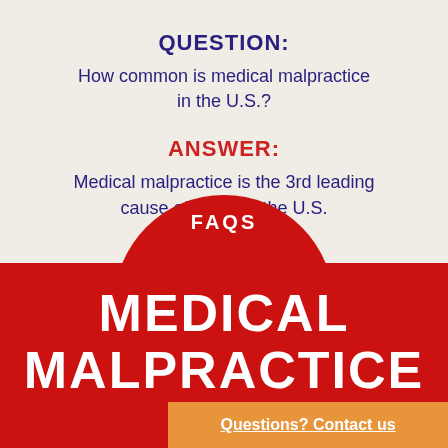QUESTION:
How common is medical malpractice in the U.S.?
ANSWER:
Medical malpractice is the 3rd leading cause of death in the U.S.
[Figure (infographic): Red arch/banner shape with FAQS label and MEDICAL MALPRACTICE title on red background]
Questions? Contact us